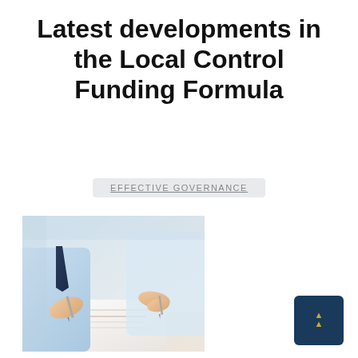Latest developments in the Local Control Funding Formula
EFFECTIVE GOVERNANCE
[Figure (photo): Two business people reviewing documents at a table, one holding a pen pointing at papers, white background]